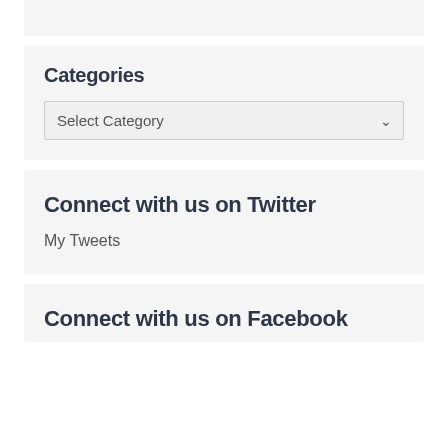Categories
Select Category
Connect with us on Twitter
My Tweets
Connect with us on Facebook